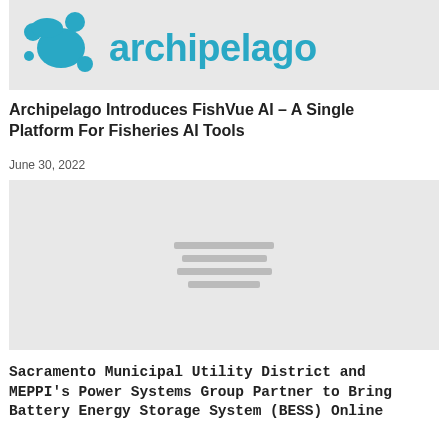[Figure (logo): Archipelago logo with teal/blue abstract shape and text 'archipelago']
Archipelago Introduces FishVue AI – A Single Platform For Fisheries AI Tools
June 30, 2022
[Figure (photo): Placeholder image with loading indicator lines]
Sacramento Municipal Utility District and MEPPI's Power Systems Group Partner to Bring Battery Energy Storage System (BESS) Online